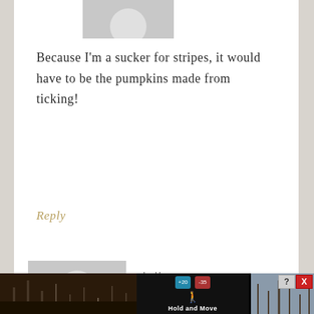[Figure (illustration): Partial gray avatar/silhouette of a person at the top, cropped]
Because I'm a sucker for stripes, it would have to be the pumpkins made from ticking!
Reply
[Figure (illustration): Gray avatar silhouette of a person (default user icon)]
shelly says
SEPTEMBER 17, 2015 AT 3:31 PM
[Figure (screenshot): Advertisement banner at bottom showing Hold and Move app with trees in background]